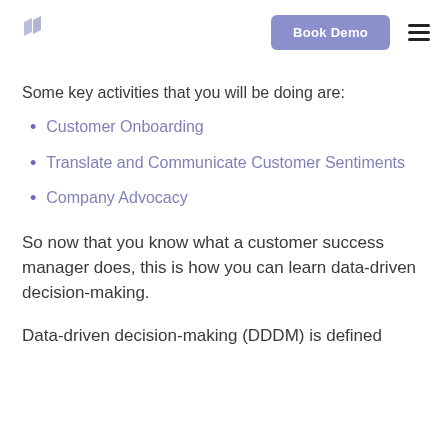Book Demo
Some key activities that you will be doing are:
Customer Onboarding
Translate and Communicate Customer Sentiments
Company Advocacy
So now that you know what a customer success manager does, this is how you can learn data-driven decision-making.
Data-driven decision-making (DDDM) is defined